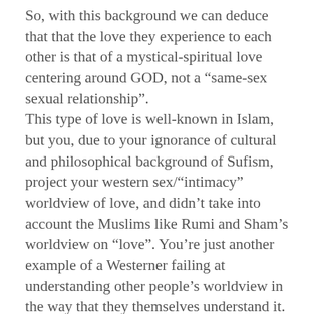So, with this background we can deduce that that the love they experience to each other is that of a mystical-spiritual love centering around GOD, not a “same-sex sexual relationship”. This type of love is well-known in Islam, but you, due to your ignorance of cultural and philosophical background of Sufism, project your western sex/“intimacy” worldview of love, and didn’t take into account the Muslims like Rumi and Sham’s worldview on “love”. You’re just another example of a Westerner failing at understanding other people’s worldview in the way that they themselves understand it. Our own religious text speaks of this type of love, like these Hadiths (reported Sayings of Prophet